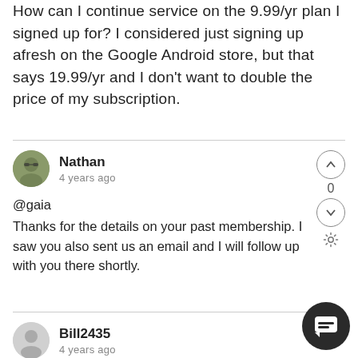How can I continue service on the 9.99/yr plan I signed up for? I considered just signing up afresh on the Google Android store, but that says 19.99/yr and I don't want to double the price of my subscription.
Nathan
4 years ago
@gaia
Thanks for the details on your past membership. I saw you also sent us an email and I will follow up with you there shortly.
Bill2435
4 years ago